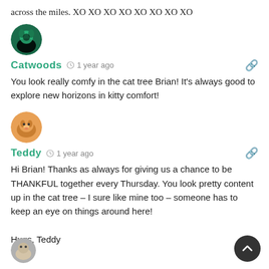across the miles. XO XO XO XO XO XO XO XO
[Figure (photo): Round avatar with green/teal background and cat silhouette for user Catwoods]
Catwoods  1 year ago
You look really comfy in the cat tree Brian! It’s always good to explore new horizons in kitty comfort!
[Figure (photo): Round avatar showing an orange tabby cat for user Teddy]
Teddy  1 year ago
Hi Brian! Thanks as always for giving us a chance to be THANKFUL together every Thursday. You look pretty content up in the cat tree – I sure like mine too – someone has to keep an eye on things around here!

Hugs, Teddy
[Figure (photo): Partial round avatar at bottom of page]